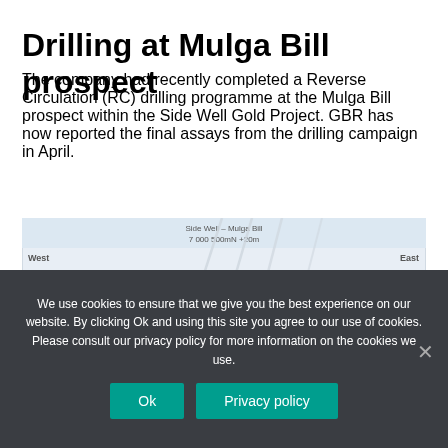Drilling at Mulga Bill prospect
The company had recently completed a Reverse Circulation (RC) drilling programme at the Mulga Bill prospect within the Side Well Gold Project. GBR has now reported the final assays from the drilling campaign in April.
[Figure (engineering-diagram): Cross-section diagram of Side Well – Mulga Bill geological survey showing West to East orientation, 7 000 500mN +20m, with drill hole traces and a horizontal stratigraphy band labeled 50m, and depth marker -80m.]
We use cookies to ensure that we give you the best experience on our website. By clicking Ok and using this site you agree to our use of cookies. Please consult our privacy policy for more information on the cookies we use.